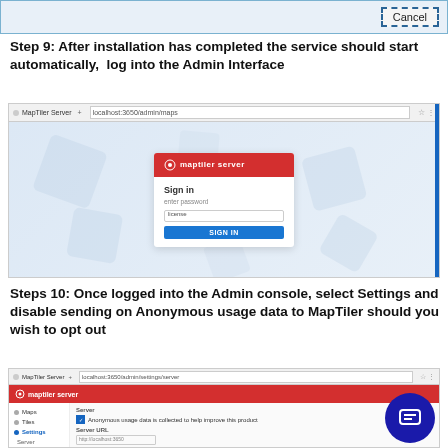[Figure (screenshot): Partial screenshot of an installer dialog showing a Cancel button]
Step 9: After installation has completed the service should start automatically,  log into the Admin Interface
[Figure (screenshot): Browser screenshot showing MapTiler Server Sign In page with username/password field and Sign In button]
Steps 10: Once logged into the Admin console, select Settings and disable sending on Anonymous usage data to MapTiler should you wish to opt out
[Figure (screenshot): Browser screenshot showing MapTiler Server admin console with Settings selected in sidebar, showing anonymous usage data checkbox option]